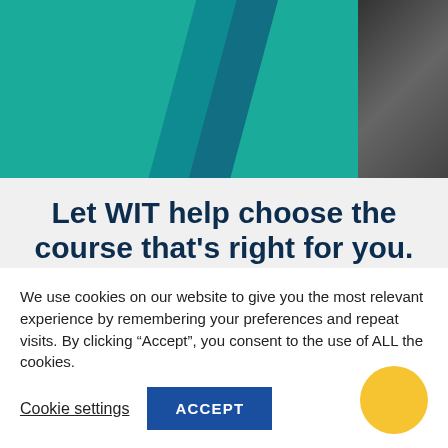[Figure (photo): Hero banner image with teal/green background, diagonal stripe design elements in dark teal/blue, and a partial photo of a person on the right side]
Let WIT help choose the course that’s right for you.
On the run up to Tuesday, 1 February, now is your opportunity to Ask WIT
We use cookies on our website to give you the most relevant experience by remembering your preferences and repeat visits. By clicking “Accept”, you consent to the use of ALL the cookies.
Cookie settings
ACCEPT